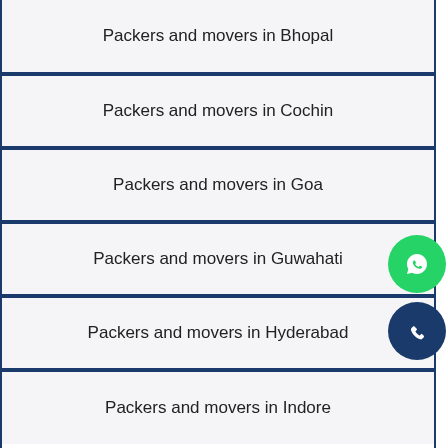Packers and movers in Bhopal
Packers and movers in Cochin
Packers and movers in Goa
Packers and movers in Guwahati
Packers and movers in Hyderabad
Packers and movers in Indore